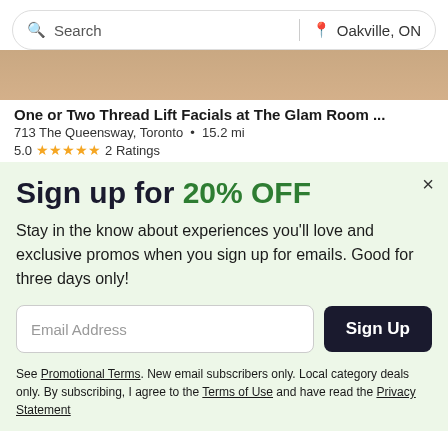[Figure (screenshot): Search bar with 'Search' placeholder on left and 'Oakville, ON' location on right]
[Figure (photo): Partial photo strip showing close-up of person's face/skin]
One or Two Thread Lift Facials at The Glam Room ...
713 The Queensway, Toronto • 15.2 mi
5.0 ★★★★★ 2 Ratings
Sign up for 20% OFF
Stay in the know about experiences you'll love and exclusive promos when you sign up for emails. Good for three days only!
[Figure (screenshot): Email address input field with Sign Up button]
See Promotional Terms. New email subscribers only. Local category deals only. By subscribing, I agree to the Terms of Use and have read the Privacy Statement